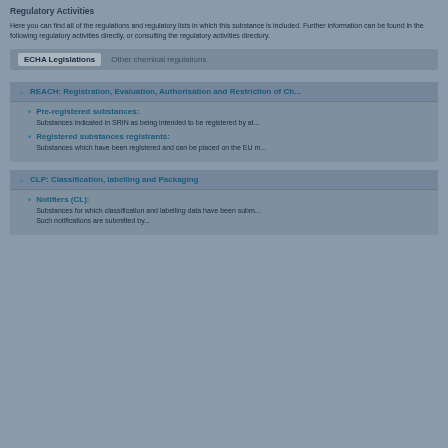Regulatory Activities
Here you can find all of the regulations and regulatory lists in which this substance is included. Further information can be found in the following regulatory activities directly, or consulting the regulatory activities directory.
| ECHA Legislations | Other Chemical regulations |
| --- | --- |
REACH: Registration, Evaluation, Authorisation and Restriction of Chemicals
Pre-registered substances: Substances indicated in SRIN as being intended to be registered by at least one company.
Registered substances registrants: Substances which have been registered and can be placed on the EU market.
CLP: Classification, labelling and Packaging
Notifiers (CL): Substances for which classification and labelling data have been submitted through notifications. Such notifications are submitted by manufacturers or importers.